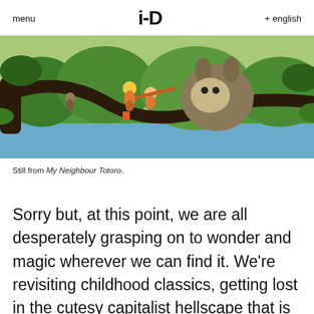menu   i-D   + english
[Figure (illustration): Still from My Neighbour Totoro: animated scene with characters sitting on a tree branch over a lush green landscape with water below. A large round creature (Totoro) and children are visible on the branch.]
Still from My Neighbour Totoro.
Sorry but, at this point, we are all desperately grasping on to wonder and magic wherever we can find it. We're revisiting childhood classics, getting lost in the cutesy capitalist hellscape that is Animal Crossing, and are picking up the hobbies we haven't fully engaged with since we